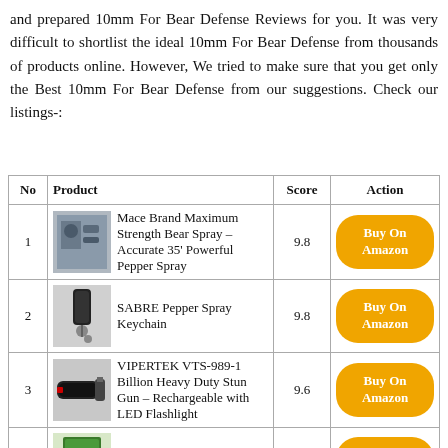and prepared 10mm For Bear Defense Reviews for you. It was very difficult to shortlist the ideal 10mm For Bear Defense from thousands of products online. However, We tried to make sure that you get only the Best 10mm For Bear Defense from our suggestions. Check our listings-:
| No | Product | Score | Action |
| --- | --- | --- | --- |
| 1 | Mace Brand Maximum Strength Bear Spray – Accurate 35' Powerful Pepper Spray | 9.8 | Buy On Amazon |
| 2 | SABRE Pepper Spray Keychain | 9.8 | Buy On Amazon |
| 3 | VIPERTEK VTS-989-1 Billion Heavy Duty Stun Gun – Rechargeable with LED Flashlight | 9.6 | Buy On Amazon |
| 4 | Coghlan's Bear Bell with Magnetic Silencer | 9.6 | Buy On Amazon |